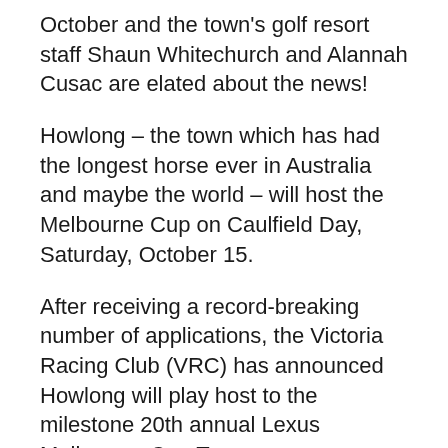October and the town's golf resort staff Shaun Whitechurch and Alannah Cusac are elated about the news!
Howlong – the town which has had the longest horse ever in Australia and maybe the world – will host the Melbourne Cup on Caulfield Day, Saturday, October 15.
After receiving a record-breaking number of applications, the Victoria Racing Club (VRC) has announced Howlong will play host to the milestone 20th annual Lexus Melbourne Cup Tour.
This year's milestone 20th edition will be unlike any other, visiting a total of 33 destinations across Australia, New Zealand